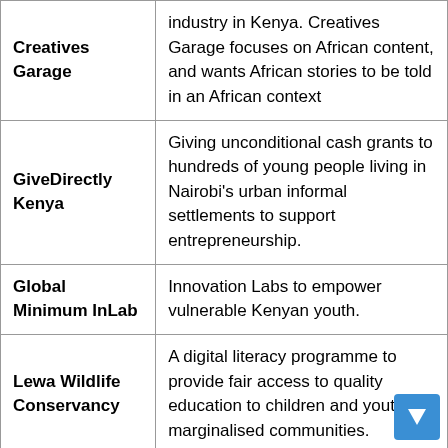| Organisation | Description |
| --- | --- |
| Creatives Garage | industry in Kenya. Creatives Garage focuses on African content, and wants African stories to be told in an African context |
| GiveDirectly Kenya | Giving unconditional cash grants to hundreds of young people living in Nairobi's urban informal settlements to support entrepreneurship. |
| Global Minimum InLab | Innovation Labs to empower vulnerable Kenyan youth. |
| Lewa Wildlife Conservancy | A digital literacy programme to provide fair access to quality education to children and youth in marginalised communities. |
| M-Shule | A personalised learning platform that combines AI with SMS to transform primary school education for students |